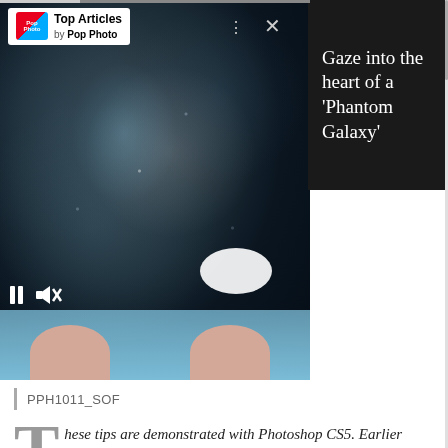[Figure (screenshot): Screenshot of a mobile app showing a video player overlay with a galaxy/space image, media controls, Top Articles by Pop Photo header, and article title 'Gaze into the heart of a Phantom Galaxy']
PPH1011_SOF
These tips are demonstrated with Photoshop CS5. Earlier versions would work equally well. Photo: Charles Howells
[Figure (photo): Photograph of rocky ocean waves/water surface with dark rocks and white foam, partially visible at bottom of page]